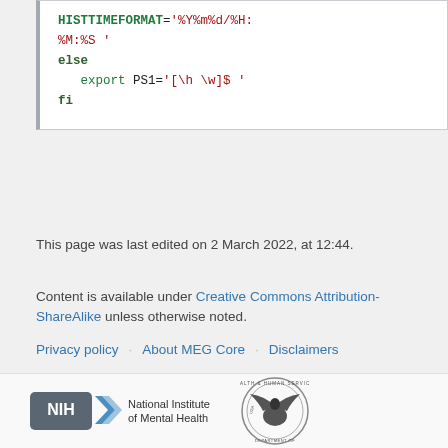[Figure (screenshot): Code block showing bash shell script snippet with HISTTIMEFORMAT, else, export PS1, fi keywords in colored syntax highlighting]
This page was last edited on 2 March 2022, at 12:44.
Content is available under Creative Commons Attribution-ShareAlike unless otherwise noted.
Privacy policy   About MEG Core   Disclaimers
HHS Vulnerability Disclosure
[Figure (logo): NIH National Institute of Mental Health logo and HHS Department of Health and Human Services USA seal]